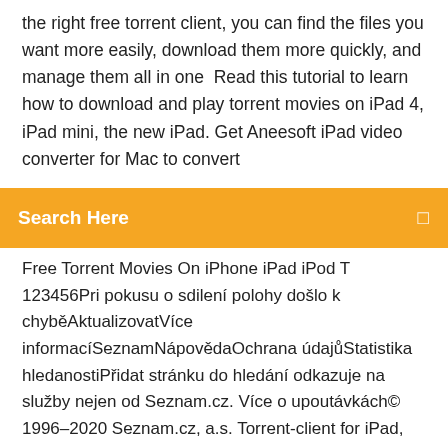the right free torrent client, you can find the files you want more easily, download them more quickly, and manage them all in one  Read this tutorial to learn how to download and play torrent movies on iPad 4, iPad mini, the new iPad. Get Aneesoft iPad video converter for Mac to convert
Search Here
Free Torrent Movies On iPhone iPad iPod T 123456Pri pokusu o sdilení polohy došlo k chyběAktualizovatVíce informacíSeznamNápovědaOchrana údajůStatistika hledanostiPřidat stránku do hledání odkazuje na služby nejen od Seznam.cz. Více o upoutávkách© 1996–2020 Seznam.cz, a.s. Torrent-client for iPad, IPhone, iPod http://ermak.usBest Torrent Movie Downloaders – Download Movie Torrents for… https://winxdvd.com/resource/torrent-movie-downloader.htmFree download best torrent movie downloader software to download torrents of your desired movies for offline